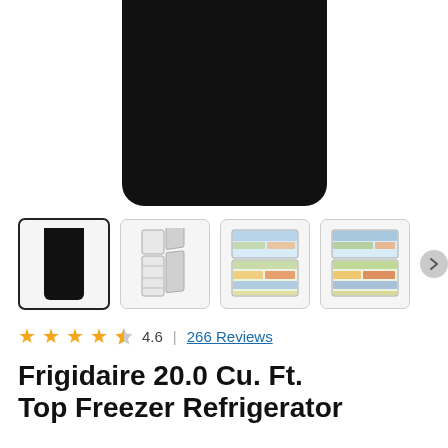[Figure (photo): Main product photo of a Frigidaire black top-freezer refrigerator, showing the front exterior against white background, cropped from top.]
[Figure (photo): Thumbnail row showing four images: (1) black refrigerator exterior selected, (2) open empty refrigerator interior, (3) refrigerator interior stocked with food, (4) another view of stocked refrigerator interior. A next arrow button appears at the right.]
4.6 | 266 Reviews
Frigidaire 20.0 Cu. Ft. Top Freezer Refrigerator